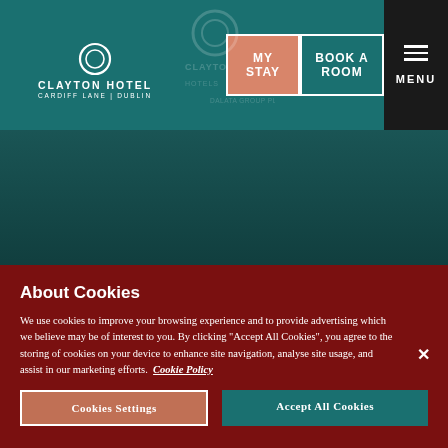CLAYTON HOTEL CARDIFF LANE | DUBLIN — MY STAY | BOOK A ROOM | MENU
Clayton Hotel Cardiff Lane
About Cookies
We use cookies to improve your browsing experience and to provide advertising which we believe may be of interest to you. By clicking "Accept All Cookies", you agree to the storing of cookies on your device to enhance site navigation, analyse site usage, and assist in our marketing efforts.  Cookie Policy
Cookies Settings | Accept All Cookies